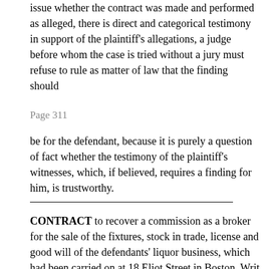issue whether the contract was made and performed as alleged, there is direct and categorical testimony in support of the plaintiff's allegations, a judge before whom the case is tried without a jury must refuse to rule as matter of law that the finding should
Page 311
be for the defendant, because it is purely a question of fact whether the testimony of the plaintiff's witnesses, which, if believed, requires a finding for him, is trustworthy.
CONTRACT to recover a commission as a broker for the sale of the fixtures, stock in trade, license and good will of the defendants' liquor business, which had been carried on at 18 Eliot Street in Boston. Writ dated November 21, 1913.
The plaintiff did not enter the writ on the return day, which was the first Monday of January, 1914, as he should have done. On February 5, 1914, a judge of the Superior Court made an order allowing the late entry of the action. On